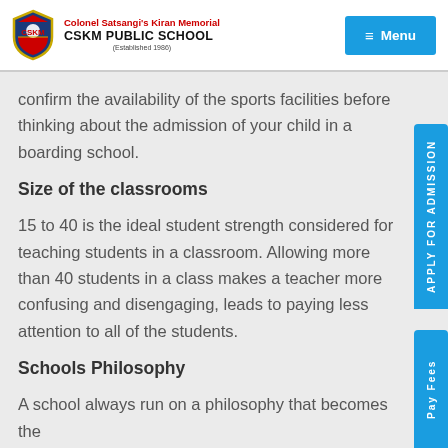Colonel Satsangi's Kiran Memorial CSKM PUBLIC SCHOOL (Established 1986)
confirm the availability of the sports facilities before thinking about the admission of your child in a boarding school.
Size of the classrooms
15 to 40 is the ideal student strength considered for teaching students in a classroom. Allowing more than 40 students in a class makes a teacher more confusing and disengaging, leads to paying less attention to all of the students.
Schools Philosophy
A school always run on a philosophy that becomes the